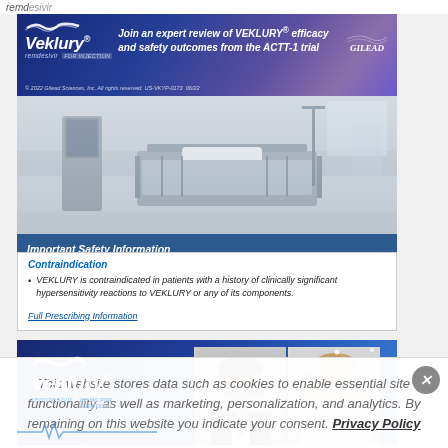remdesivir
[Figure (advertisement): Veklury remdesivir ad banner: 'Join an expert review of VEKLURY efficacy and safety outcomes from the ACTT-1 trial' by Gilead. Copyright 2022 Gilead Sciences, Inc. All rights reserved. US-VKYP-0173 06/22]
[Figure (photo): Hospital ICU room with empty patient bed and medical equipment]
Important Safety Information
Contraindication
VEKLURY is contraindicated in patients with a history of clinically significant hypersensitivity reactions to VEKLURY or any of its components.
Full Prescribing Information
[Figure (advertisement): Veklury remdesivir 100 MG FOR INJECTION second ad banner with two medical professional portraits on blue background]
This website stores data such as cookies to enable essential site functionality, as well as marketing, personalization, and analytics. By remaining on this website you indicate your consent. Privacy Policy